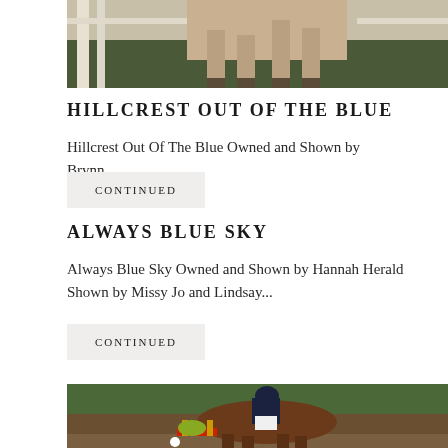[Figure (photo): Top portion of a horse with legs visible, cropped at the top of the page, against a background with fence and trees]
HILLCREST OUT OF THE BLUE
Hillcrest Out Of The Blue Owned and Shown by Brynn...
CONTINUED
ALWAYS BLUE SKY
Always Blue Sky Owned and Shown by Hannah Herald Shown by Missy Jo and Lindsay...
CONTINUED
[Figure (photo): Rider in equestrian attire jumping a fence on a brown horse in an outdoor setting with green trees in background, red and yellow obstacle visible]